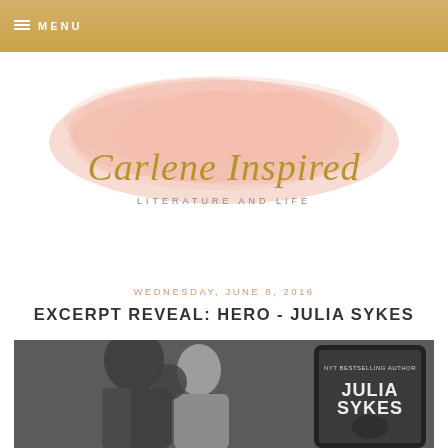MENU
[Figure (logo): Carlene Inspired blog logo with pink watercolor background and gold script text reading 'Carlene Inspired' with subtitle 'LITERATURE AND LIFE']
WEDNESDAY, JUNE 8, 2016
EXCERPT REVEAL: HERO - JULIA SYKES
[Figure (photo): Black and white photo of a couple in an intimate pose, with a tablet showing the book cover for 'Hero' by Julia Sykes (NYT Bestselling Author) visible on the right side]